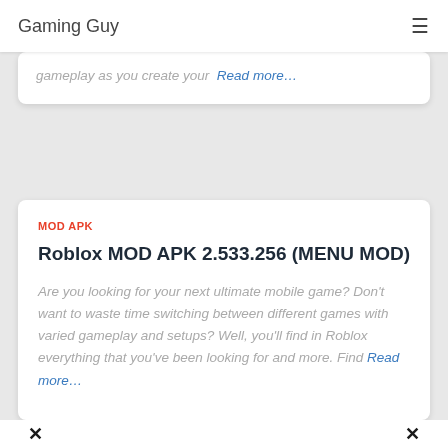Gaming Guy
gameplay as you create your Read more…
MOD APK
Roblox MOD APK 2.533.256 (MENU MOD)
Are you looking for your next ultimate mobile game? Don't want to waste time switching between different games with varied gameplay and setups? Well, you'll find in Roblox everything that you've been looking for and more. Find Read more…